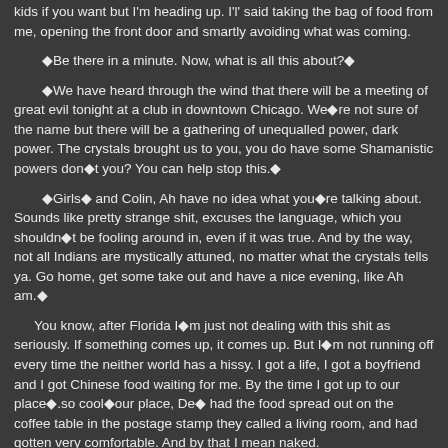kids if you want but I’m heading up. I’l’ said taking the bag of food from me, opening the front door and smartly avoiding what was coming.
◆Be there in a minute. Now, what is all this about?◆
◆We have heard through the wind that there will be a meeting of great evil tonight at a club in downtown Chicago. We◆re not sure of the name but there will be a gathering of unequalled power, dark power. The crystals brought us to you, you do have some Shamanistic powers don◆t you? You can help stop this.◆
◆Girls◆ and Colin, Ah have no idea what you◆re talking about. Sounds like pretty strange shit, excuses the language, which you shouldn◆t be fooling around in, even if it was true. And by the way, not all Indians are mystically attuned, no matter what the crystals tells ya. Go home, get some take out and have a nice evening, like Ah am.◆
You know, after Florida I◆m just not dealing with this shit as seriously. If something comes up, it comes up. But I◆m not running off every time the neither world has a hissy. I got a life, I got a boyfriend and I got Chinese food waiting for me. By the time I got up to our place◆.so cool◆our place, De◆ had the food spread out on the coffee table in the postage stamp they called a living room, and had gotten very comfortable. And by that I mean naked.
◆Have Ah not been naked enough tonight?◆ I said starting to shuck my clothes and joining him sitting on the floor. ◆This is◆.the most incredible thing Ah could ever hope for. Our own place, quite nights, nothing to bother..◆
◆What did those kids want?◆
◆Early trick or treaters. We◆re mood setting here.◆
◆Tak called. I know, I know just in case, real quick, let me tell you. Rich is back in town, the Twins are back in town, they got Ricardo and they◆re going to